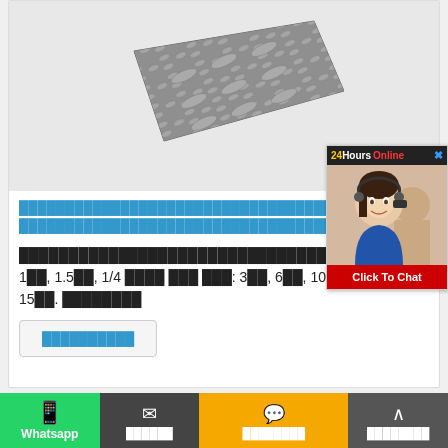[Figure (photo): Aluminum checker plate / diamond plate product image, dark metallic with ridged pattern visible]
████████████████████████████████████████████████████████████████████████████████████
████████████████████████████████████████████████████████████████████Thin: 1██, 1.5██, 1/4 ████ ███ ███: 3██, 6██, 10██, 12.7██, 15██. ████████
[Figure (infographic): 24Hours Online chat widget with agent photo and Click To Chat button]
██████████
[Figure (photo): Bottom partial view of aluminum checker plate pattern]
Whatsapp | ██████ | ████████ | ████████